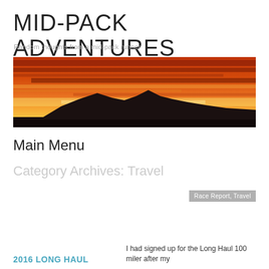MID-PACK ADVENTURES
Random thoughts from a mid-pack runner
[Figure (photo): Panoramic sunset photo with silhouetted mountains and vibrant orange-red sky]
Main Menu
Category Archives: Travel
Race Report, Travel
2016 LONG HAUL
I had signed up for the Long Haul 100 miler after my